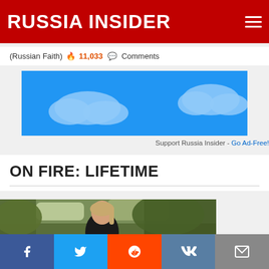RUSSIA INSIDER
(Russian Faith) 🔥 11,033 💬 Comments
[Figure (other): Advertisement banner with blue sky and clouds background]
Support Russia Insider - Go Ad-Free!
ON FIRE: LIFETIME
[Figure (photo): Woman with blonde hair sitting outdoors in front of trees, wearing dark clothing]
Social share buttons: Facebook, Twitter, Reddit, VK, Email